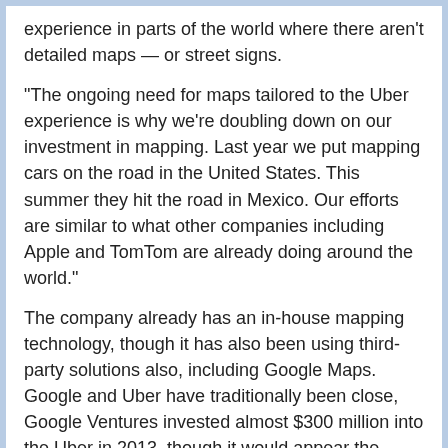experience in parts of the world where there aren't detailed maps — or street signs.
“The ongoing need for maps tailored to the Uber experience is why we're doubling down on our investment in mapping. Last year we put mapping cars on the road in the United States. This summer they hit the road in Mexico. Our efforts are similar to what other companies including Apple and TomTom are already doing around the world.”
The company already has an in-house mapping technology, though it has also been using third-party solutions also, including Google Maps. Google and Uber have traditionally been close, Google Ventures invested almost $300 million into the Uber in 2013, though it would appear the team are keen to move away from its reliance on third parties by bolstering its own engineering team. Efforts have focused on the US to date, though the mapping vehicles have begun work in Mexico, with other countries on the list in the future.
A significant area of growth for Uber is customers using the app when they are on holiday or on business trips (i.e. US customers using when travel to Europe or Asia), as opposed to local taxis at the airport. One of the main challenges here is